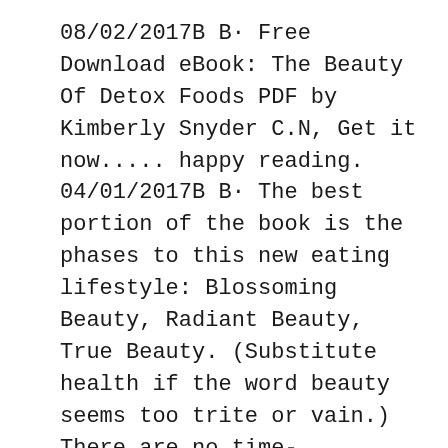08/02/2017В В· Free Download eBook: The Beauty Of Detox Foods PDF by Kimberly Snyder C.N, Get it now..... happy reading. 04/01/2017В В· The best portion of the book is the phases to this new eating lifestyle: Blossoming Beauty, Radiant Beauty, True Beauty. (Substitute health if the word beauty seems too trite or vain.) There are no time-constraints when in these phases, though 30-days are suggested, no food journals or counting calories. The author presents portion sizes and maintains that the body will naturally adjust to the вЂ¦
Kimberly SnyderвЂ™s the beauty detox